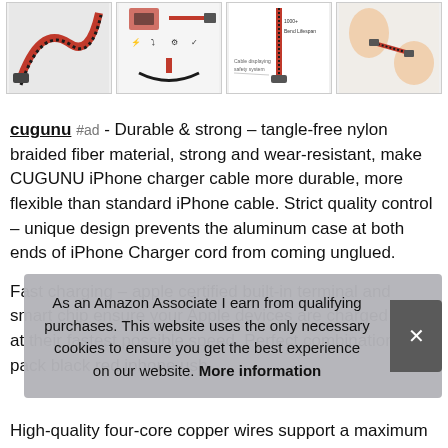[Figure (photo): Four product images of CUGUNU braided iPhone charging cables in a horizontal row. First shows a red/black braided cable with USB connector. Second shows cable with icons. Third shows cable cross-section diagram. Fourth shows hands holding cable connectors.]
cugunu #ad - Durable & strong – tangle-free nylon braided fiber material, strong and wear-resistant, make CUGUNU iPhone charger cable more durable, more flexible than standard iPhone cable. Strict quality control – unique design prevents the aluminum case at both ends of iPhone Charger cord from coming unglued.
Fast charging – apple certified built-in terminal and smart chip ensure your Apple devices are charged safely at their fastest possible speed. Perfect combination – 5 pack black red iphone usb
As an Amazon Associate I earn from qualifying purchases. This website uses the only necessary cookies to ensure you get the best experience on our website. More information
High-quality four-core copper wires support a maximum